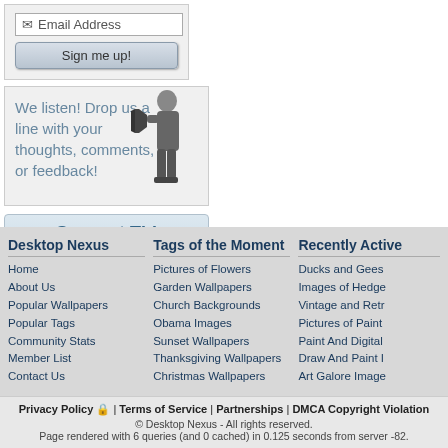[Figure (screenshot): Email signup form with email address input field and Sign me up! button]
[Figure (illustration): Feedback panel with text 'We listen! Drop us a line with your thoughts, comments, or feedback!' and black-and-white image of man with megaphone]
Support This Site
Desktop Nexus
Home
About Us
Popular Wallpapers
Popular Tags
Community Stats
Member List
Contact Us
Tags of the Moment
Pictures of Flowers
Garden Wallpapers
Church Backgrounds
Obama Images
Sunset Wallpapers
Thanksgiving Wallpapers
Christmas Wallpapers
Recently Active
Ducks and Gees
Images of Hedge
Vintage and Retr
Pictures of Paint
Paint And Digital
Draw And Paint I
Art Galore Image
Privacy Policy | Terms of Service | Partnerships | DMCA Copyright Violation
© Desktop Nexus - All rights reserved.
Page rendered with 6 queries (and 0 cached) in 0.125 seconds from server -82.